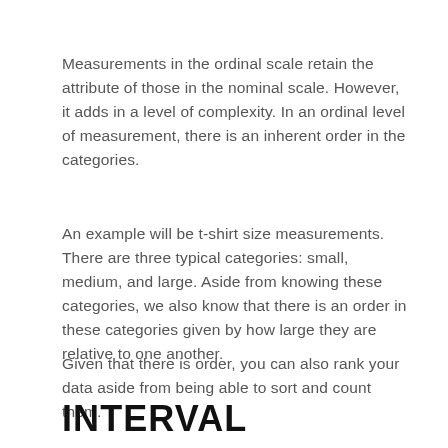Measurements in the ordinal scale retain the attribute of those in the nominal scale. However, it adds in a level of complexity. In an ordinal level of measurement, there is an inherent order in the categories.
An example will be t-shirt size measurements. There are three typical categories: small, medium, and large. Aside from knowing these categories, we also know that there is an order in these categories given by how large they are relative to one another.
Given that there is order, you can also rank your data aside from being able to sort and count them.
INTERVAL